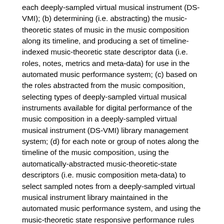each deeply-sampled virtual musical instrument (DS-VMI); (b) determining (i.e. abstracting) the music-theoretic states of music in the music composition along its timeline, and producing a set of timeline-indexed music-theoretic state descriptor data (i.e. roles, notes, metrics and meta-data) for use in the automated music performance system; (c) based on the roles abstracted from the music composition, selecting types of deeply-sampled virtual musical instruments available for digital performance of the music composition in a deeply-sampled virtual musical instrument (DS-VMI) library management system; (d) for each note or group of notes along the timeline of the music composition, using the automatically-abstracted music-theoretic-state descriptors (i.e. music composition meta-data) to select sampled notes from a deeply-sampled virtual musical instrument library maintained in the automated music performance system, and using the music-theoretic state responsive performance rules to process the selected sampled notes to generate notes for a digital performance of the music composition; (e) assembling and finalizing the processed sampled notes in the digital performance of the music composition; and (f) producing the performed